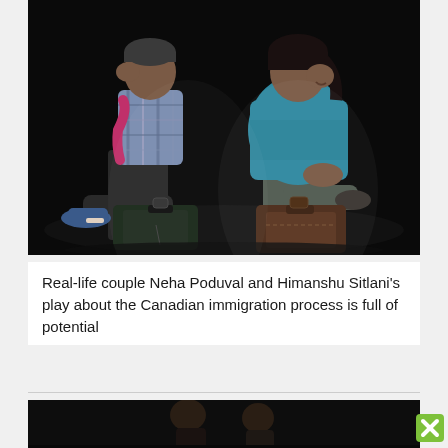[Figure (photo): Two people sitting back-to-back on suitcases on a dark stage. The man on the left wears a plaid shirt and has a red scarf, wearing blue sneakers. The woman on the right wears a teal/blue t-shirt and is smiling, looking upward. Both are seated on luggage against a black background.]
Real-life couple Neha Poduval and Himanshu Sitlani's play about the Canadian immigration process is full of potential
[Figure (photo): Partial view of another performance photo showing two people on a dark stage, partially cut off at the bottom of the page.]